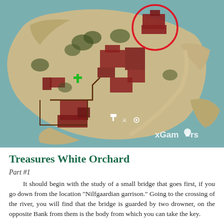[Figure (map): A top-down game map screenshot from The Witcher, showing a settlement area with red building outlines on sandy terrain surrounded by water/teal areas. A red circle highlights a structure in the upper right. White and green map icons are visible. Watermark 'xGamers' in lower right.]
Treasures White Orchard
Part #1
It should begin with the study of a small bridge that goes first, if you go down from the location "Nilfgaardian garrison." Going to the crossing of the river, you will find that the bridge is guarded by two drowner, on the opposite Bank from them is the body from which you can take the key.
And the cache is directly under the bridge, as are the